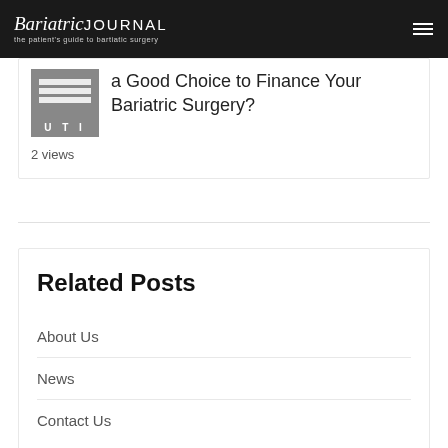BariatricJOURNAL – the patient's guide to bartiatic surgery
a Good Choice to Finance Your Bariatric Surgery?
2 views
Related Posts
About Us
News
Contact Us